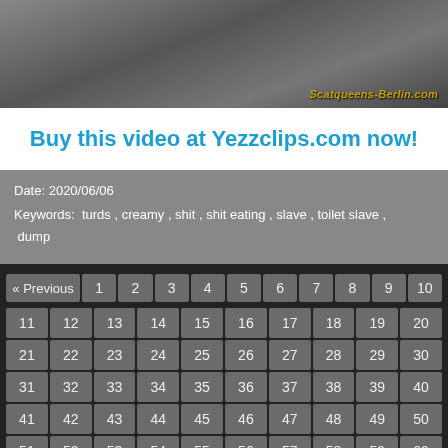[Figure (photo): Video thumbnail with watermark text 'Scatqueens-Berlin.com']
Buy this video at Yezzclips.com now!
Date: 2020/06/06
Keywords: turds , creamy , shit , shit eating , slave , toilet slave , dump
| « Previous | 1 | 2 | 3 | 4 | 5 | 6 | 7 | 8 | 9 | 10 |
| 11 | 12 | 13 | 14 | 15 | 16 | 17 | 18 | 19 | 20 |
| 21 | 22 | 23 | 24 | 25 | 26 | 27 | 28 | 29 | 30 |
| 31 | 32 | 33 | 34 | 35 | 36 | 37 | 38 | 39 | 40 |
| 41 | 42 | 43 | 44 | 45 | 46 | 47 | 48 | 49 | 50 |
| 51 | 52 | 53 | 54 | 55 | 56 | 57 | 58 | 59 | 60 |
| 61 | 62 | 63 | 64 | 65 | 66 | 67 | 68 | 69 | 70 |